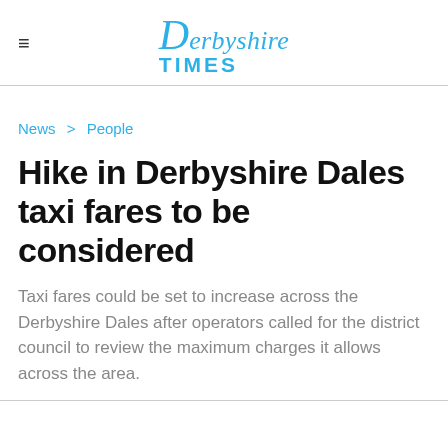Derbyshire TIMES
News > People
Hike in Derbyshire Dales taxi fares to be considered
Taxi fares could be set to increase across the Derbyshire Dales after operators called for the district council to review the maximum charges it allows across the area.